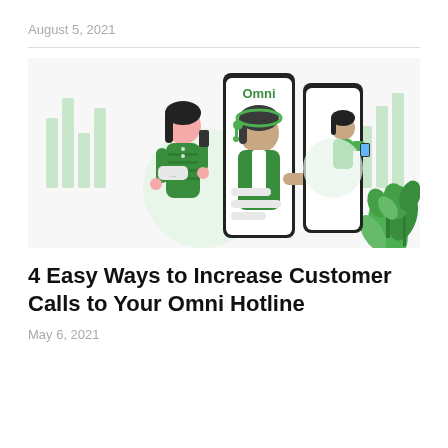August 5, 2021
[Figure (illustration): Illustrated scene with three panels showing a woman in green dress on phone, a customer service agent with headset reaching out from a phone screen (Omni branding), and another woman in green holding a device, with decorative green plants and bar chart graphics in background.]
4 Easy Ways to Increase Customer Calls to Your Omni Hotline
May 6, 2021